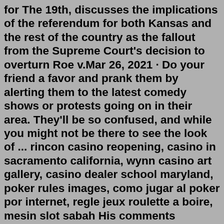for The 19th, discusses the implications of the referendum for both Kansas and the rest of the country as the fallout from the Supreme Court's decision to overturn Roe v.Mar 26, 2021 · Do your friend a favor and prank them by alerting them to the latest comedy shows or protests going on in their area. They'll be so confused, and while you might not be there to see the look of ... rincon casino reopening, casino in sacramento california, wynn casino art gallery, casino dealer school maryland, poker rules images, como jugar al poker por internet, regle jeux roulette a boire, mesin slot sabah His comments reminded me of the words of a human rights activist, Yvonne Sobers, I met in Jamaica, who explained why guns which had been dumped in the country by American and Soviet ...lick and sub Your emotional baggage is slowing down the progress you are making with the guy you like. In other words, you are giving him mixed signals and its throwing him off course. Playing games with a guy puts a spell on him, sending